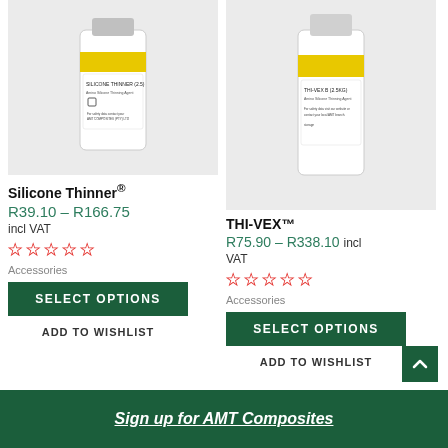[Figure (photo): White bottle with yellow label - Silicone Thinner product]
Silicone Thinner®
R39.10 – R166.75
incl VAT
★★★★★ (empty stars)
Accessories
SELECT OPTIONS
ADD TO WISHLIST
[Figure (photo): White bottle with yellow label - THI-VEX product]
THI-VEX™
R75.90 – R338.10 incl VAT
★★★★★ (empty stars)
Accessories
SELECT OPTIONS
ADD TO WISHLIST
Sign up for AMT Composites